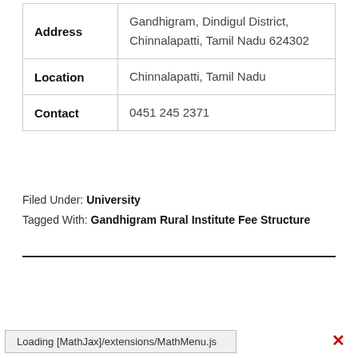| Address | Gandhigram, Dindigul District, Chinnalapatti, Tamil Nadu 624302 |
| Location | Chinnalapatti, Tamil Nadu |
| Contact | 0451 245 2371 |
Filed Under: University
Tagged With: Gandhigram Rural Institute Fee Structure
Loading [MathJax]/extensions/MathMenu.js